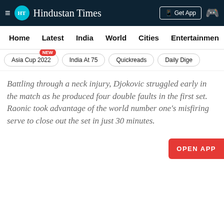Hindustan Times - Home | Latest | India | World | Cities | Entertainment
Asia Cup 2022 NEW
India At 75
Quickreads
Daily Dige...
Battling through a neck injury, Djokovic struggled early in the match as he produced four double faults in the first set. Raonic took advantage of the world number one's misfiring serve to close out the set in just 30 minutes.